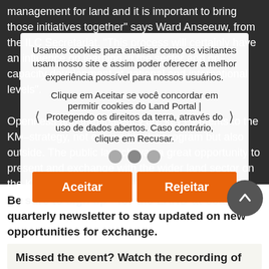management for land and it is important to bring those initiatives together" says Ward Anseeuw, from the ILC Secretariat. "This process will certainly have an influence on learning in the sector and on capacity development at national and international levels".
Openness and transparency are key elements to the KM–strategy, not only within the program but also outside. The public launch was a great opportunity to present and exchange with the wider land sector on the KM–approach. We consider this to be a catalyst for regular exchanges with the field on our experiences, to find synergies and learn from each other's feedback.
Usamos cookies para analisar como os visitantes usam nosso site e assim poder oferecer a melhor experiência possível para nossos usuários. Clique em Aceitar se você concordar em permitir cookies do Land Portal | Protegendo os direitos da terra, através do uso de dados abertos. Caso contrário, clique em Recusar.
Be sure to sign up for the LAND-at-scale quarterly newsletter to stay updated on new opportunities for exchange.
Missed the event? Watch the recording of